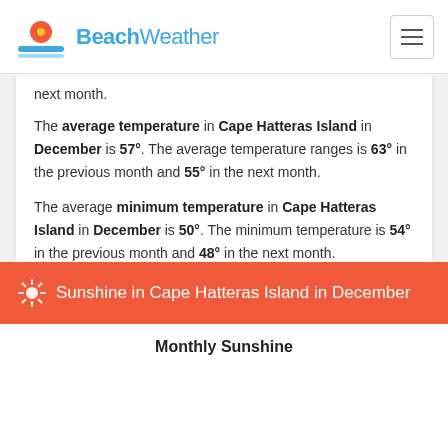BeachWeather
next month.
The average temperature in Cape Hatteras Island in December is 57°. The average temperature ranges is 63° in the previous month and 55° in the next month.
The average minimum temperature in Cape Hatteras Island in December is 50°. The minimum temperature is 54° in the previous month and 48° in the next month.
Sunshine in Cape Hatteras Island in December
Monthly Sunshine